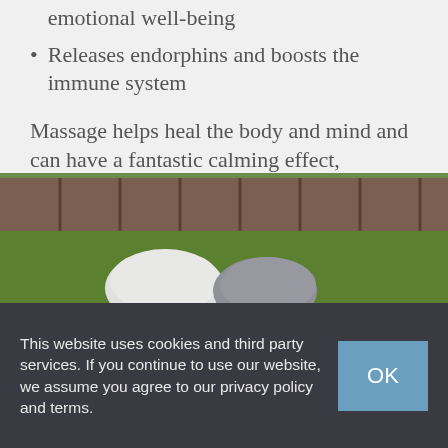emotional well-being
Releases endorphins and boosts the immune system
Massage helps heal the body and mind and can have a fantastic calming effect, bringing everything together – their bodies, to their minds to their emotions.
[Figure (photo): Photo showing smooth rounded stones (one white, one grey) on green grass with a wooden fence in the background — a relaxation/wellness scene.]
This website uses cookies and third party services. If you continue to use our website, we assume you agree to our privacy policy and terms.